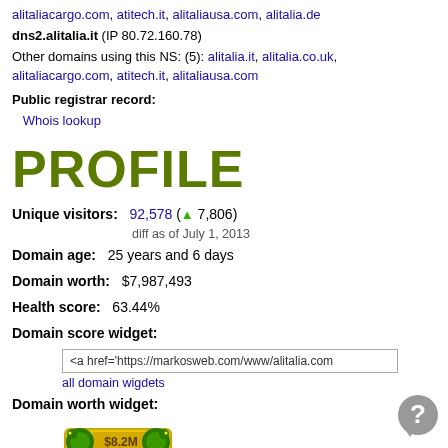alitaliacargo.com, atitech.it, alitaliausa.com, alitalia.de
dns2.alitalia.it (IP 80.72.160.78)
Other domains using this NS: (5): alitalia.it, alitalia.co.uk, alitaliacargo.com, atitech.it, alitaliausa.com
Public registrar record:
Whois lookup
PROFILE
Unique visitors:  92,578 (▲ 7,806)
diff as of July 1, 2013
Domain age:   25 years and 6 days
Domain worth:  $7,987,493
Health score:  63.44%
Domain score widget:
<a href='https://markosweb.com/www/alitalia.com
all domain wigdets
Domain worth widget:
[Figure (illustration): Domain worth badge showing $8.2M value with green snake/rope design]
<a href='https://markosweb.com/www/alitalia.com
all worth widgets